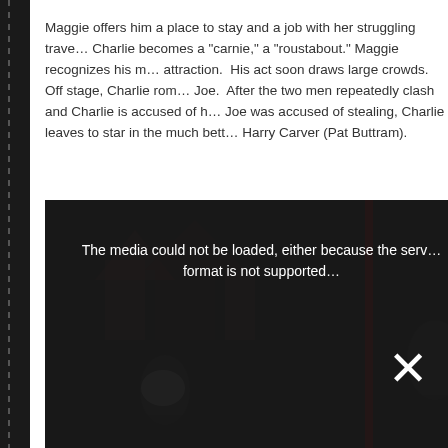Maggie offers him a place to stay and a job with her struggling traveling carnival. Charlie becomes a "carnie," a "roustabout." Maggie recognizes his magnetism as an attraction. His act soon draws large crowds. Off stage, Charlie romances Maggie's daughter Joe. After the two men repeatedly clash and Charlie is accused of hitting Cathy and then Joe was accused of stealing, Charlie leaves to star in the much better outfit of Hal and Harry Carver (Pat Buttram).
[Figure (screenshot): Video player showing a darkened carnival scene with people in the foreground. A media error message overlay reads: 'The media could not be loaded, either because the server or network failed or because the format is not supported.' An X button is visible in the lower right area of the player.]